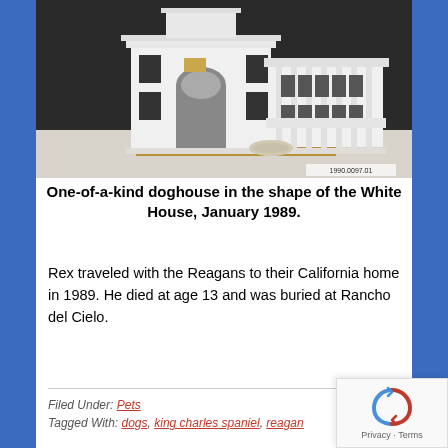[Figure (photo): A white doghouse built in the shape of the White House, with columns, arched entryway, and multi-story facade, sitting on a wooden pallet on a marble-like floor. Small label in bottom-right corner reads '1990.0097.01'.]
One-of-a-kind doghouse in the shape of the White House, January 1989.
Rex traveled with the Reagans to their California home in 1989. He died at age 13 and was buried at Rancho del Cielo.
Filed Under: Pets
Tagged With: dogs, king charles spaniel, reagan